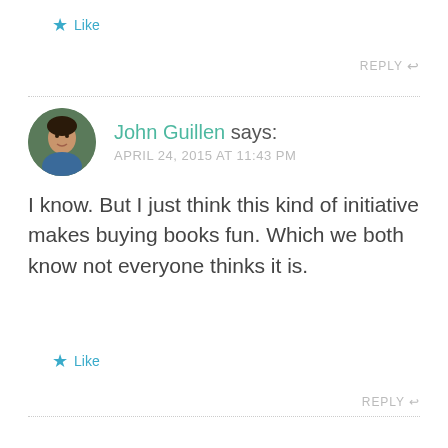★ Like
REPLY ↩
John Guillen says: APRIL 24, 2015 AT 11:43 PM
I know. But I just think this kind of initiative makes buying books fun. Which we both know not everyone thinks it is.
★ Like
REPLY ↩